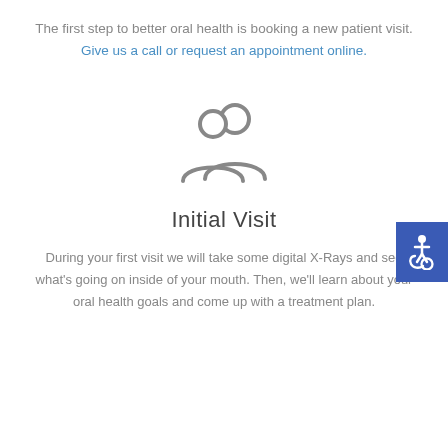The first step to better oral health is booking a new patient visit. Give us a call or request an appointment online.
[Figure (illustration): Two people / group icon in gray outline style representing new patients]
Initial Visit
During your first visit we will take some digital X-Rays and see what's going on inside of your mouth. Then, we'll learn about your oral health goals and come up with a treatment plan.